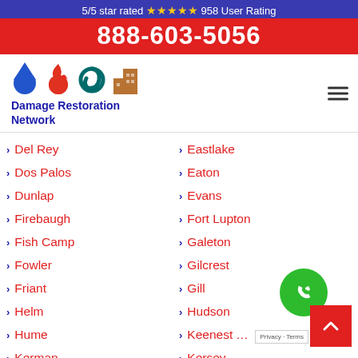5/5 star rated ⭐⭐⭐⭐⭐ 958 User Rating
888-603-5056
[Figure (logo): Damage Restoration Network logo with water drop, fire, hurricane, and building icons]
Del Rey
Dos Palos
Dunlap
Firebaugh
Fish Camp
Fowler
Friant
Helm
Hume
Kerman
Kingsburg
Kings Canyon National Pk
Lakeshore
Eastlake
Eaton
Evans
Fort Lupton
Galeton
Gilcrest
Gill
Hudson
Keenesburg
Kersey
La Salle
Nunn
Orchard
Pierce